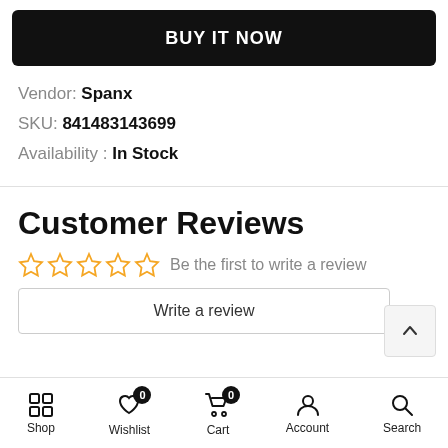BUY IT NOW
Vendor: Spanx
SKU: 841483143699
Availability : In Stock
Customer Reviews
☆☆☆☆☆  Be the first to write a review
Write a review
Shop  Wishlist 0  Cart 0  Account  Search